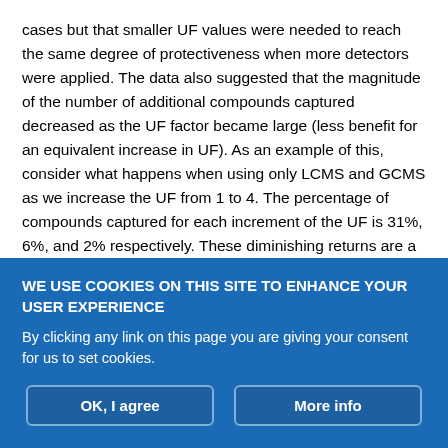cases but that smaller UF values were needed to reach the same degree of protectiveness when more detectors were applied. The data also suggested that the magnitude of the number of additional compounds captured decreased as the UF factor became large (less benefit for an equivalent increase in UF). As an example of this, consider what happens when using only LCMS and GCMS as we increase the UF from 1 to 4. The percentage of compounds captured for each increment of the UF is 31%, 6%, and 2% respectively. These diminishing returns are a reflection of the fact that many compounds have already been captured, but also that the detectors utilized may not be fundamentally capable of detecting the remaining
WE USE COOKIES ON THIS SITE TO ENHANCE YOUR USER EXPERIENCE
By clicking any link on this page you are giving your consent for us to set cookies.